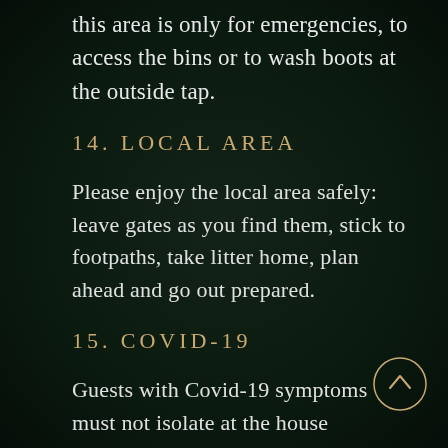this area is only for emergencies, to access the bins or to wash boots at the outside tap.
14. LOCAL AREA
Please enjoy the local area safely: leave gates as you find them, stick to footpaths, take litter home, plan ahead and go out prepared.
15. COVID-19
Guests with Covid-19 symptoms must not isolate at the house